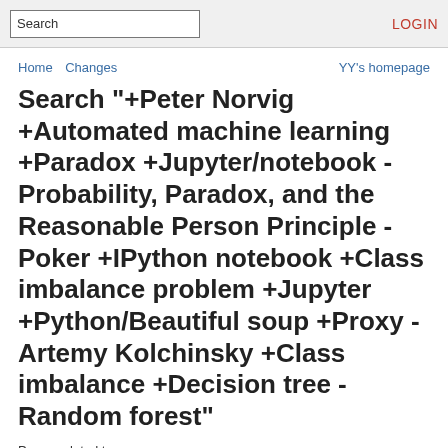Search | LOGIN
Home  Changes                          YY's homepage
Search "+Peter Norvig +Automated machine learning +Paradox +Jupyter/notebook -Probability, Paradox, and the Reasonable Person Principle -Poker +IPython notebook +Class imbalance problem +Jupyter +Python/Beautiful soup +Proxy -Artemy Kolchinsky +Class imbalance +Decision tree -Random forest"
Pages related to: